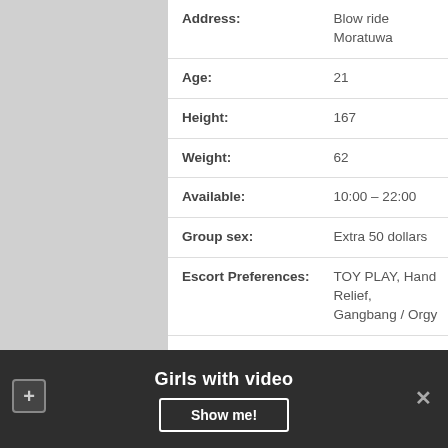| Field | Value |
| --- | --- |
| Address: | Blow ride Moratuwa |
| Age: | 21 |
| Height: | 167 |
| Weight: | 62 |
| Available: | 10:00 – 22:00 |
| Group sex: | Extra 50 dollars |
| Escort Preferences: | TOY PLAY, Hand Relief, Gangbang / Orgy |
| Outcall: | No |
| 1H PRICE: | 120$ |
| Gangbang: | 300$ |
| Tits: | Silicone |
Girls with video
Show me!